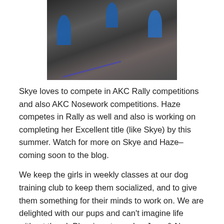[Figure (photo): Photo of two dogs (Skye and Haze) with handlers holding blue ribbon awards at an AKC competition.]
Skye loves to compete in AKC Rally competitions and also AKC Nosework competitions. Haze competes in Rally as well and also is working on completing her Excellent title (like Skye) by this summer. Watch for more on Skye and Haze–coming soon to the blog.
We keep the girls in weekly classes at our dog training club to keep them socialized, and to give them something for their minds to work on. We are delighted with our pups and can't imagine life without them!  Blessings to you!   ~Jean & Nancy